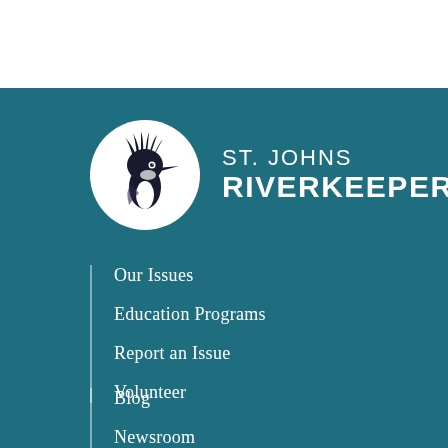[Figure (logo): St. Johns Riverkeeper logo with a kingfisher bird illustration in a white circle, next to the text ST. JOHNS RIVERKEEPER with registered trademark symbol]
Our Issues
Education Programs
Report an Issue
Volunteer
Blog
Newsroom